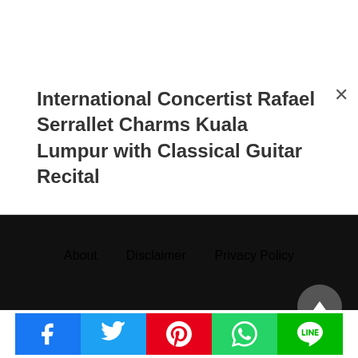International Concertist Rafael Serrallet Charms Kuala Lumpur with Classical Guitar Recital
About   Disclaimer   Privacy Policy
[Figure (other): Social share buttons: Facebook, Twitter, Pinterest, WhatsApp, LINE]